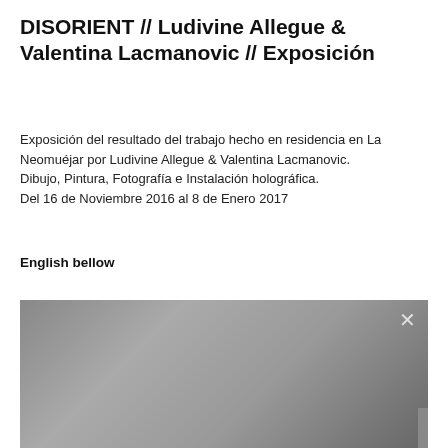DISORIENT // Ludivine Allegue & Valentina Lacmanovic // Exposición
Exposición del resultado del trabajo hecho en residencia en La Neomuéjar por Ludivine Allegue & Valentina Lacmanovic.
Dibujo, Pintura, Fotografía e Instalación holográfica.
Del 16 de Noviembre 2016 al 8 de Enero 2017
English bellow
[Figure (photo): A large greyscale/gradient image area with a close (×) button in the upper right and a scroll-up arrow button in the lower right corner.]